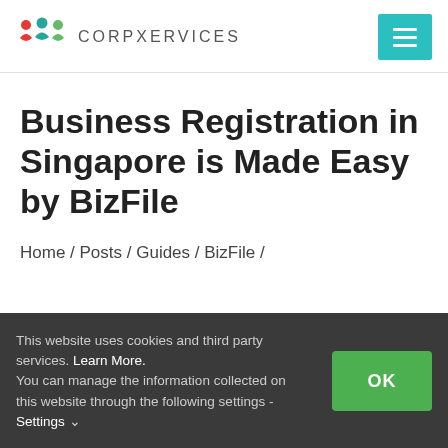CORPXERVICES
Business Registration in Singapore is Made Easy by BizFile
Home / Posts / Guides / BizFile /
This website uses cookies and third party services. Learn More. You can manage the information collected on this website through the following settings - Settings